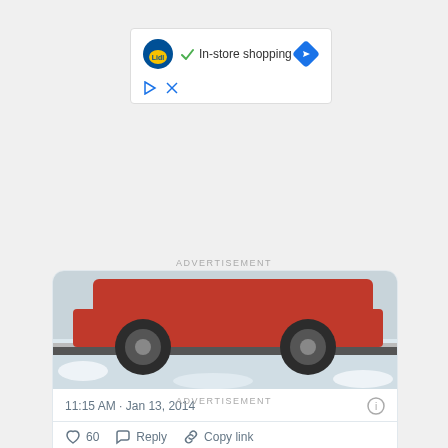[Figure (screenshot): Lidl ad banner with in-store shopping text and navigation icon]
ADVERTISEMENT
[Figure (photo): Car wheels on snow-covered road, red vehicle visible]
11:15 AM · Jan 13, 2014
60  Reply  Copy link
Read 2 replies
ADVERTISEMENT